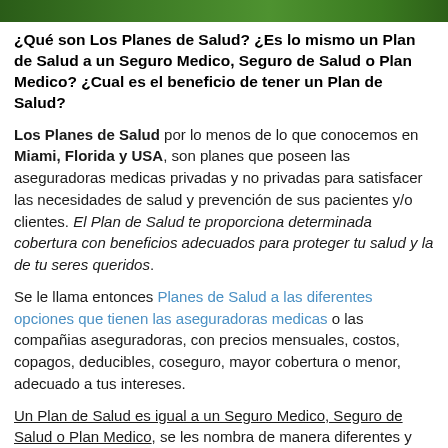[Figure (photo): Green vegetation/nature image strip at top of page]
¿Qué son Los Planes de Salud? ¿Es lo mismo un Plan de Salud a un Seguro Medico, Seguro de Salud o Plan Medico? ¿Cual es el beneficio de tener un Plan de Salud?
Los Planes de Salud por lo menos de lo que conocemos en Miami, Florida y USA, son planes que poseen las aseguradoras medicas privadas y no privadas para satisfacer las necesidades de salud y prevención de sus pacientes y/o clientes. El Plan de Salud te proporciona determinada cobertura con beneficios adecuados para proteger tu salud y la de tu seres queridos.
Se le llama entonces Planes de Salud a las diferentes opciones que tienen las aseguradoras medicas o las compañias aseguradoras, con precios mensuales, costos, copagos, deducibles, coseguro, mayor cobertura o menor, adecuado a tus intereses.
Un Plan de Salud es igual a un Seguro Medico, Seguro de Salud o Plan Medico, se les nombra de manera diferentes y